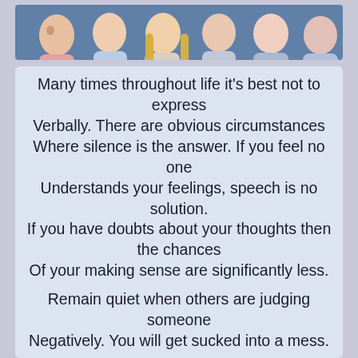[Figure (photo): Group of people with various expressions, some covering mouths, against a blue background]
Many times throughout life it's best not to express Verbally. There are obvious circumstances Where silence is the answer. If you feel no one Understands your feelings, speech is no solution. If you have doubts about your thoughts then the chances Of your making sense are significantly less.

Remain quiet when others are judging someone Negatively. You will get sucked into a mess.